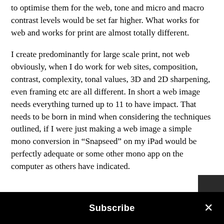to optimise them for the web, tone and micro and macro contrast levels would be set far higher. What works for web and works for print are almost totally different.
I create predominantly for large scale print, not web obviously, when I do work for web sites, composition, contrast, complexity, tonal values, 3D and 2D sharpening, even framing etc are all different. In short a web image needs everything turned up to 11 to have impact. That needs to be born in mind when considering the techniques outlined, if I were just making a web image a simple mono conversion in “Snapseed” on my iPad would be perfectly adequate or some other mono app on the computer as others have indicated.
Subscribe